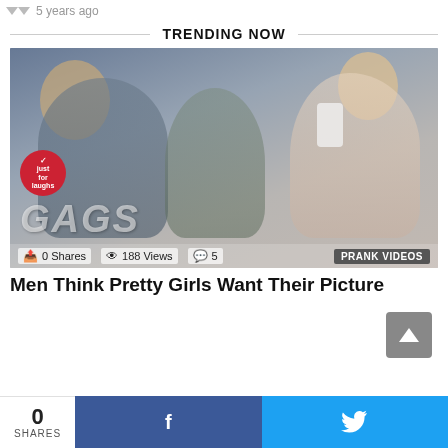5 years ago
TRENDING NOW
[Figure (photo): A man looking skeptically at camera while two young women behind him look at a smartphone. Just For Laughs Gags branding visible in lower left of image. Stats bar shows: 0 Shares, 188 Views, 5 comments, PRANK VIDEOS badge.]
Men Think Pretty Girls Want Their Picture
0 SHARES